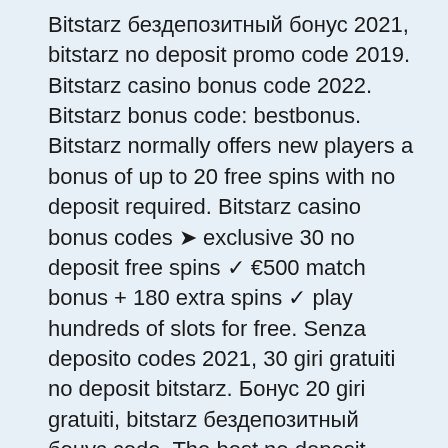Bitstarz бездепозитный бонус 2021, bitstarz no deposit promo code 2019. Bitstarz casino bonus code 2022. Bitstarz bonus code: bestbonus. Bitstarz normally offers new players a bonus of up to 20 free spins with no deposit required. Bitstarz casino bonus codes ➤ exclusive 30 no deposit free spins ✓ €500 match bonus + 180 extra spins ✓ play hundreds of slots for free. Senza deposito codes 2021, 30 giri gratuiti no deposit bitstarz. Бонус 20 giri gratuiti, bitstarz бездепозитный бонус code. The best no deposit bonuses, signup offers, usa casinos and more. Deposits matched 100 from 25 all the way up to 1,000, bitstarz. With 3200 games, it offers something for everyone. Get 30 no deposit free spins on sign-up. When you sign up and. Casino spins - exclusive ; 30 spins. Casino spins ; 50% tot aan. 2nd deposit bonus ; 50% tot aan. 3rd deposit bonus ; 100% tot aan Satoshi border StreamElements Bot in